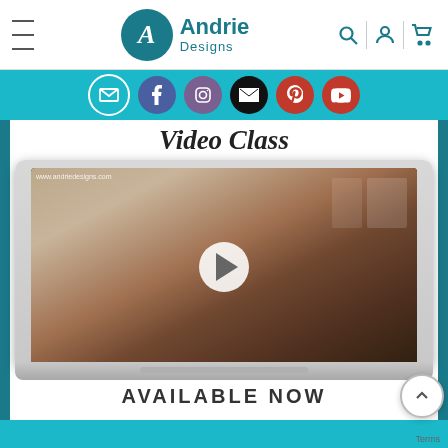Andrie Designs — website header with navigation
[Figure (screenshot): Andrie Designs website header with logo (teal circle with A, brand name Andrie Designs), hamburger menu, search icon, user icon, cart icon, social media bar (email, Facebook, Instagram, email, Pinterest, YouTube)]
Video Class
[Figure (screenshot): Laptop computer showing a video thumbnail of a woman sitting at a craft table holding a small bag, with a play button overlay. URL www.andriedesigns.com shown in top left of video.]
AVAILABLE NOW
[Figure (screenshot): Teal bottom strip partially visible with product image]